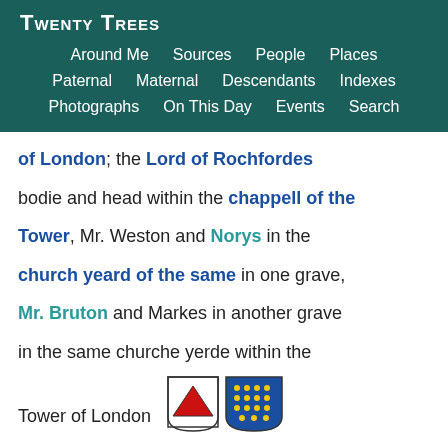Twenty Trees
Around Me | Sources | People | Places | Paternal | Maternal | Descendants | Indexes | Photographs | On This Day | Events | Search
of London; the Lord of Rochfordes bodie and head within the chappell of the Tower, Mr. Weston and Norys in the church yeard of the same in one grave, Mr. Bruton and Markes in another grave in the same churche yerde within the Tower of London
[Figure (illustration): Two heraldic coat of arms shields side by side at bottom of page]